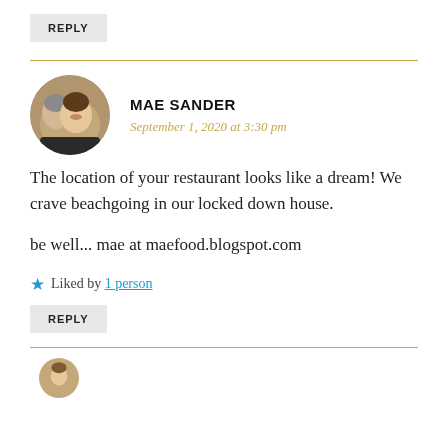REPLY
[Figure (photo): Circular avatar photo of two people, an older woman and a younger woman smiling]
MAE SANDER
September 1, 2020 at 3:30 pm
The location of your restaurant looks like a dream! We crave beachgoing in our locked down house.

be well... mae at maefood.blogspot.com
Liked by 1 person
REPLY